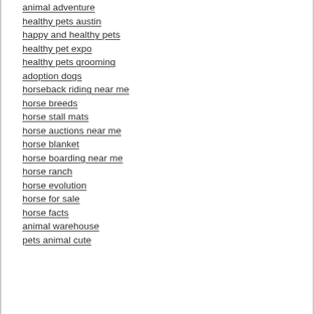animal adventure
healthy pets austin
happy and healthy pets
healthy pet expo
healthy pets grooming
adoption dogs
horseback riding near me
horse breeds
horse stall mats
horse auctions near me
horse blanket
horse boarding near me
horse ranch
horse evolution
horse for sale
horse facts
animal warehouse
pets animal cute